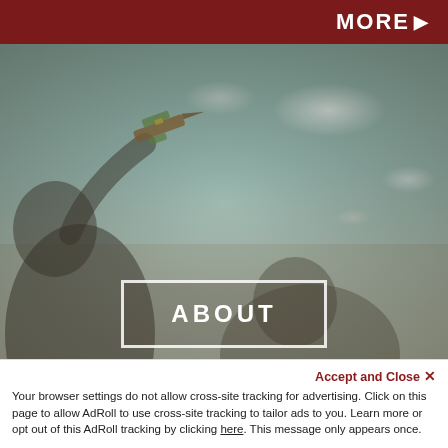MORE ▶
[Figure (photo): Vintage-toned photograph of two children outdoors, one holding a toy wooden airplane up in the air, with a cloudy sky in the background. Warm sepia-teal vintage color grading.]
ABOUT
Accept and Close ✕
Your browser settings do not allow cross-site tracking for advertising. Click on this page to allow AdRoll to use cross-site tracking to tailor ads to you. Learn more or opt out of this AdRoll tracking by clicking here. This message only appears once.